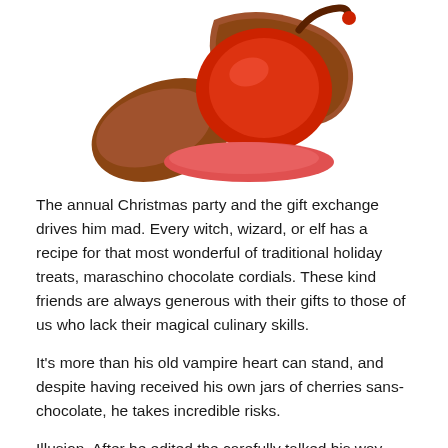[Figure (photo): A chocolate-covered cherry broken open, with red maraschino cherry liquid spilling out onto a white background. The cherry stem is visible.]
The annual Christmas party and the gift exchange drives him mad. Every witch, wizard, or elf has a recipe for that most wonderful of traditional holiday treats, maraschino chocolate cordials. These kind friends are always generous with their gifts to those of us who lack their magical culinary skills.
It's more than his old vampire heart can stand, and despite having received his own jars of cherries sans-chocolate, he takes incredible risks.
Illusion. After he edited the carefully talked his way and